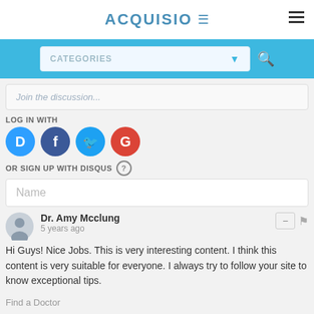ACQUISIO
CATEGORIES
Join the discussion...
LOG IN WITH
[Figure (other): Social login icons: Disqus (blue D), Facebook (dark blue F), Twitter (blue bird), Google (red G)]
OR SIGN UP WITH DISQUS
Name
Dr. Amy Mcclung
5 years ago
Hi Guys! Nice Jobs. This is very interesting content. I think this content is very suitable for everyone. I always try to follow your site to know exceptional tips.

Find a Doctor
Doctors Nearby